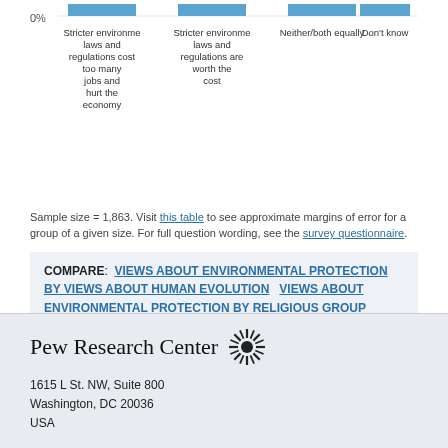[Figure (bar-chart): Views about environmental protection]
Sample size = 1,863. Visit this table to see approximate margins of error for a group of a given size. For full question wording, see the survey questionnaire.
COMPARE: VIEWS ABOUT ENVIRONMENTAL PROTECTION BY VIEWS ABOUT HUMAN EVOLUTION  VIEWS ABOUT ENVIRONMENTAL PROTECTION BY RELIGIOUS GROUP
Pew Research Center
1615 L St. NW, Suite 800
Washington, DC 20036
USA